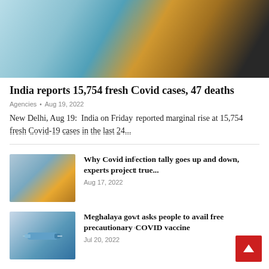[Figure (photo): Healthcare worker in blue PPE performing COVID test on a person in yellow shirt]
India reports 15,754 fresh Covid cases, 47 deaths
Agencies • Aug 19, 2022
New Delhi, Aug 19:  India on Friday reported marginal rise at 15,754 fresh Covid-19 cases in the last 24...
[Figure (photo): Healthcare worker performing COVID swab test]
Why Covid infection tally goes up and down, experts project true...
Aug 17, 2022
[Figure (photo): COVID vaccine syringe close-up]
Meghalaya govt asks people to avail free precautionary COVID vaccine
Jul 20, 2022
[Figure (photo): Person receiving COVID test swab]
India logs 20,557 Covid cases, 40 deaths
Jul 20, 2022